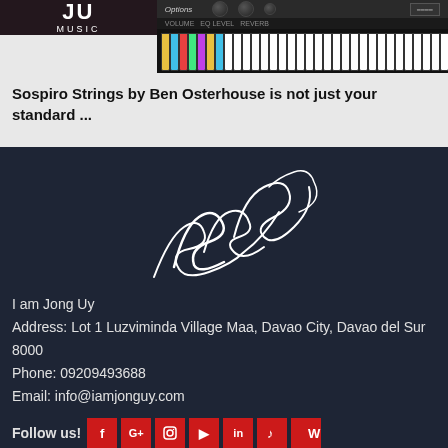[Figure (screenshot): Screenshot of a music plugin interface (JU Music - Sospiro Strings) with piano keyboard and knobs, overlaid on dark background with musician image]
Sospiro Strings by Ben Osterhouse is not just your standard ...
[Figure (illustration): Handwritten cursive signature of Jong Uy in white on dark background]
I am Jong Uy
Address: Lot 1 Luzviminda Village Maa, Davao City, Davao del Sur 8000
Phone: 09209493688
Email: info@iamjonguy.com
Follow us!
Social media icons: Facebook, Google+, Instagram, YouTube, LinkedIn, TikTok, Wikipedia